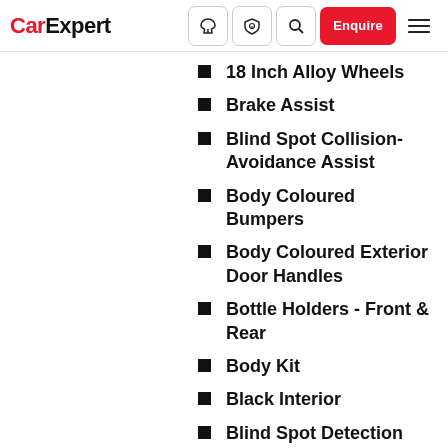CarExpert — navigation bar with logo, icons, Enquire button, and menu
18 Inch Alloy Wheels
Brake Assist
Blind Spot Collision-Avoidance Assist
Body Coloured Bumpers
Body Coloured Exterior Door Handles
Bottle Holders - Front & Rear
Body Kit
Black Interior
Blind Spot Detection
Bluetooth Connectivity
Bluetooth Connectivity - Multi-